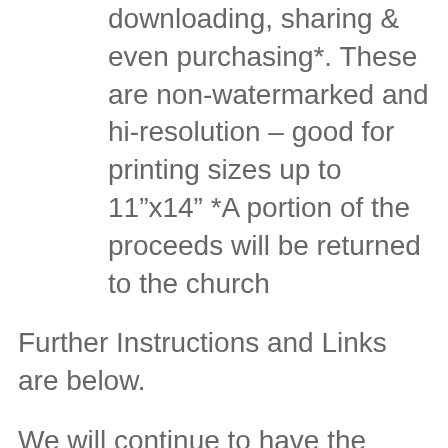downloading, sharing & even purchasing*. These are non-watermarked and hi-resolution – good for printing sizes up to 11"x14" *A portion of the proceeds will be returned to the church
Further Instructions and Links are below.
We will continue to have the prints available at the information table after each service, please stop by to pick yours up if you haven't already done so.
[intense_button link="https://www.facebook.com/CanyonSpri